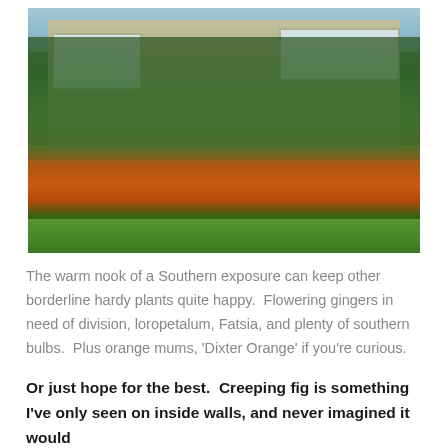[Figure (photo): A lush garden in front of a beige/cream colored house with white-framed windows. Abundant orange marigold or chrysanthemum flowers line a garden border in the foreground, with dense green foliage, shrubs, and tropical-looking plants filling the middle ground. A bright green lawn is visible in the lower left. The sky is visible through the treetops.]
The warm nook of a Southern exposure can keep other borderline hardy plants quite happy.  Flowering gingers in need of division, loropetalum, Fatsia, and plenty of southern bulbs.  Plus orange mums, 'Dixter Orange' if you're curious.
Or just hope for the best.  Creeping fig is something I've only seen on inside walls, and never imagined it would